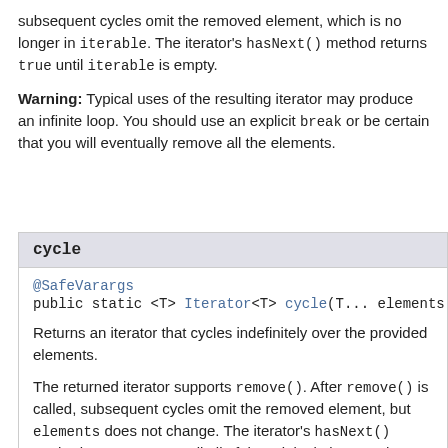subsequent cycles omit the removed element, which is no longer in iterable. The iterator's hasNext() method returns true until iterable is empty.
Warning: Typical uses of the resulting iterator may produce an infinite loop. You should use an explicit break or be certain that you will eventually remove all the elements.
cycle
@SafeVarargs
public static <T> Iterator<T> cycle(T... elements
Returns an iterator that cycles indefinitely over the provided elements.
The returned iterator supports remove(). After remove() is called, subsequent cycles omit the removed element, but elements does not change. The iterator's hasNext() method returns true until all of the original elements have been